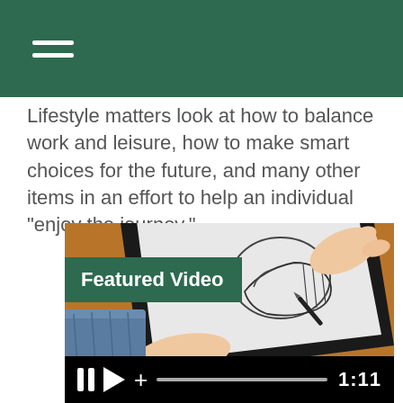Lifestyle matters look at how to balance work and leisure, how to make smart choices for the future, and many other items in an effort to help an individual “enjoy the journey.”
[Figure (screenshot): A video player showing a person's hands holding a stylus and drawing a sketch on a tablet, with a 'Featured Video' label overlay in green and video controls at the bottom showing pause, play, volume, progress bar, and timestamp 1:11]